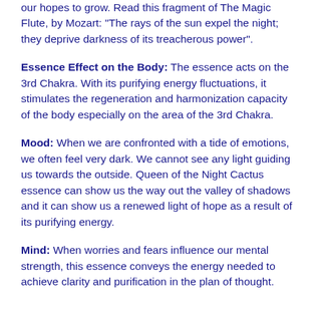our hopes to grow. Read this fragment of The Magic Flute, by Mozart: "The rays of the sun expel the night; they deprive darkness of its treacherous power".
Essence Effect on the Body: The essence acts on the 3rd Chakra. With its purifying energy fluctuations, it stimulates the regeneration and harmonization capacity of the body especially on the area of the 3rd Chakra.
Mood: When we are confronted with a tide of emotions, we often feel very dark. We cannot see any light guiding us towards the outside. Queen of the Night Cactus essence can show us the way out the valley of shadows and it can show us a renewed light of hope as a result of its purifying energy.
Mind: When worries and fears influence our mental strength, this essence conveys the energy needed to achieve clarity and purification in the plan of thought.